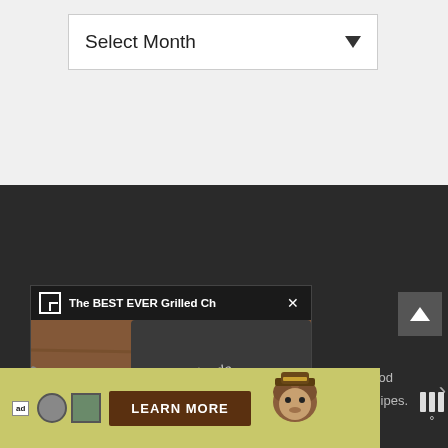Select Month
[Figure (screenshot): Video popup showing 'The BEST EVER Grilled Ch' with grilled chicken on a wooden cutting board. Controls show pause button and -1:05 timestamp.]
avine Food
's Recipes.
[Figure (advertisement): Advertisement banner with Smokey Bear saying LEARN MORE, with ad badge and icons on a yellow-green background.]